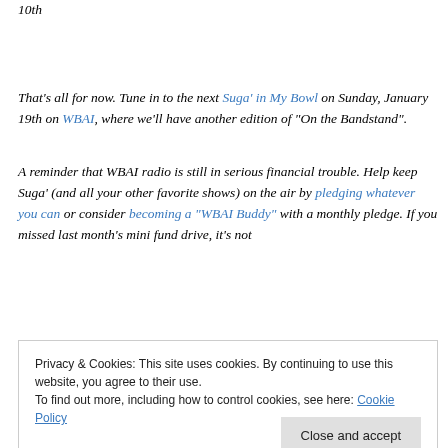10th
That's all for now. Tune in to the next Suga' in My Bowl on Sunday, January 19th on WBAI, where we'll have another edition of “On the Bandstand”.
A reminder that WBAI radio is still in serious financial trouble. Help keep Suga' (and all your other favorite shows) on the air by pledging whatever you can or consider becoming a “WBAI Buddy” with a monthly pledge. If you missed last month’s mini fund drive, it’s not
Privacy & Cookies: This site uses cookies. By continuing to use this website, you agree to their use.
To find out more, including how to control cookies, see here: Cookie Policy
Close and accept